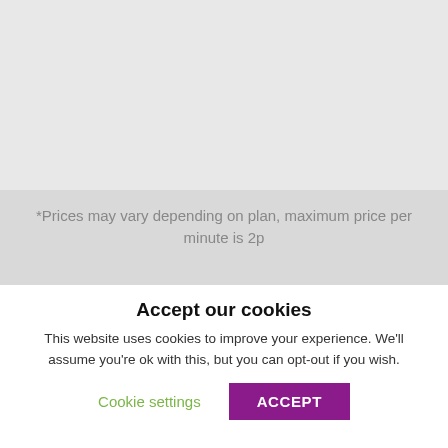*Prices may vary depending on plan, maximum price per minute is 2p
© Copyright Prison Calls Limited 2019 | All Rights Reserved | View Our Privacy Policy | View Our Terms &
Accept our cookies
This website uses cookies to improve your experience. We'll assume you're ok with this, but you can opt-out if you wish.
Cookie settings  ACCEPT